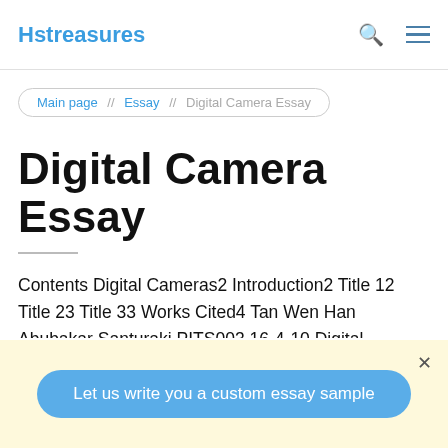Hstreasures
Main page // Essay // Digital Camera Essay
Digital Camera Essay
Contents Digital Cameras2 Introduction2 Title 12 Title 23 Title 33 Works Cited4 Tan Wen Han Abubakar Santuraki PITS003 16-4-10 Digital Cameras Introduction Digital cameras allow computer users to take pictures and store the photographed images digitally instead of on traditional film. With some digital cameras, a user
Let us write you a custom essay sample